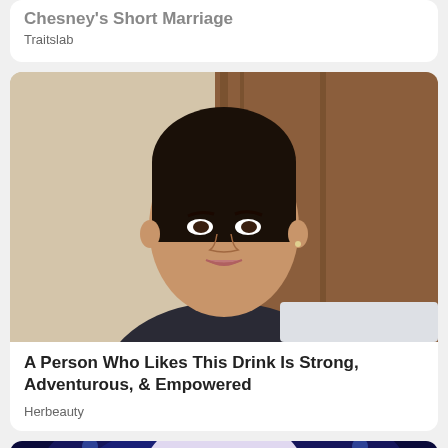Chesney's Short Marriage
Traitslab
[Figure (photo): A woman with dark hair pulled back, wearing a dark top with a light blue silk scarf tied around her neck, photographed indoors with wooden paneling in the background]
A Person Who Likes This Drink Is Strong, Adventurous, & Empowered
Herbeauty
[Figure (photo): A woman with platinum/lavender blonde curly hair, wearing earrings, performing on stage with blue lighting in the background]